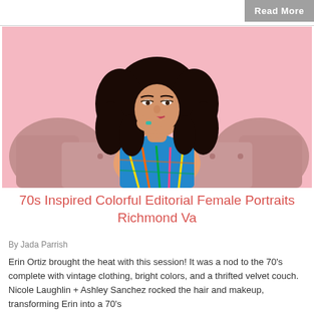Read More
[Figure (photo): Woman with long curly dark hair wearing a colorful 70s-inspired outfit, sitting on a pink velvet couch against a pink background, resting her chin on her hand with teal ring jewelry.]
70s Inspired Colorful Editorial Female Portraits Richmond Va
By Jada Parrish
Erin Ortiz brought the heat with this session! It was a nod to the 70's complete with vintage clothing, bright colors, and a thrifted velvet couch. Nicole Laughlin + Ashley Sanchez rocked the hair and makeup, transforming Erin into a 70's